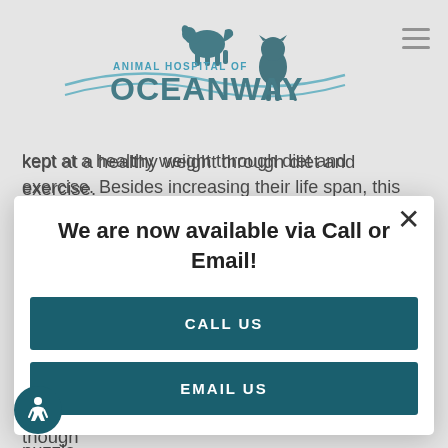[Figure (logo): Animal Hospital of Oceanway logo with teal text, dog and cat silhouettes, and wave design]
kept at a healthy weight through diet and exercise. Besides increasing their life span, this will also increase their overall quality of life. During your next vi[sit, ask your veterinarian to help you] plan fo[r your pet's weight management.]
3 – Arc[hive/continuation of section header]
Senior [pets benefit from mental stimulation even] though [it may be harder to motivate them. Mental] stimula[tion helps keep their minds sharp and prevent] demen[tia. Puzzle feeders, toys, and interactive] [game]s), [activities such as hide and seek with] puzzle[s are an excellent way of accomplishing this]
[Figure (infographic): Modal popup overlay with close X button, title 'We are now available via Call or Email!', CALL US button, and EMAIL US button on teal background]
[Figure (illustration): Accessibility icon button - circular teal button with wheelchair user symbol]